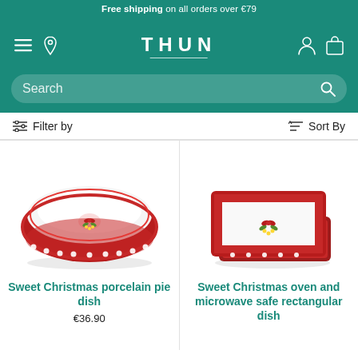Free shipping on all orders over €79
[Figure (logo): THUN brand logo with navigation icons (hamburger menu, location pin, user icon, shopping bag) on teal background]
[Figure (screenshot): Search bar on teal background with magnifying glass icon]
Filter by   Sort By
[Figure (photo): Sweet Christmas porcelain pie dish - white oval dish with red decorative border and floral Christmas motif]
Sweet Christmas porcelain pie dish
€36.90
[Figure (photo): Sweet Christmas oven and microwave safe rectangular dish - white rectangular dish with red decorative border and floral Christmas motif]
Sweet Christmas oven and microwave safe rectangular dish